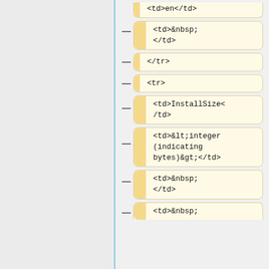<td>en</td>
<td>&nbsp;
</td>
</tr>
<tr>
<td>InstallSize</td>
<td>&lt;integer (indicating bytes)&gt;</td>
<td>&nbsp;
</td>
<td>&nbsp;